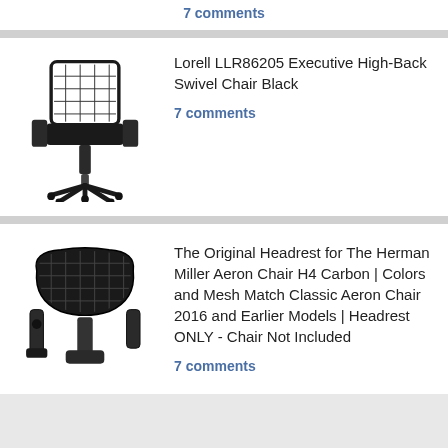7 comments
[Figure (photo): Lorell LLR86205 Executive High-Back Swivel Chair Black - product image showing black mesh office chair with armrests and wheeled base]
Lorell LLR86205 Executive High-Back Swivel Chair Black
7 comments
[Figure (photo): The Original Headrest for The Herman Miller Aeron Chair H4 Carbon - product image showing black mesh headrest attachment]
The Original Headrest for The Herman Miller Aeron Chair H4 Carbon | Colors and Mesh Match Classic Aeron Chair 2016 and Earlier Models | Headrest ONLY - Chair Not Included
7 comments